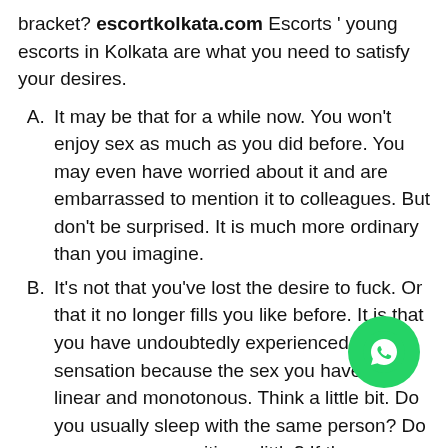bracket? escortkolkata.com Escorts ' young escorts in Kolkata are what you need to satisfy your desires.
A. It may be that for a while now. You won't enjoy sex as much as you did before. You may even have worried about it and are embarrassed to mention it to colleagues. But don't be surprised. It is much more ordinary than you imagine.
B. It's not that you've lost the desire to fuck. Or that it no longer fills you like before. It is that you have undoubtedly experienced this sensation because the sex you have is linear and monotonous. Think a little bit. Do you usually sleep with the same person? Do you vary your position a little? If the answer to both or some has been yes, there, you have the key to your boredom, friend.
C. Moving on to having sex with young girls w you a new approach to sex. But it is not always easy to find young girls for sex. Sometimes, although we are